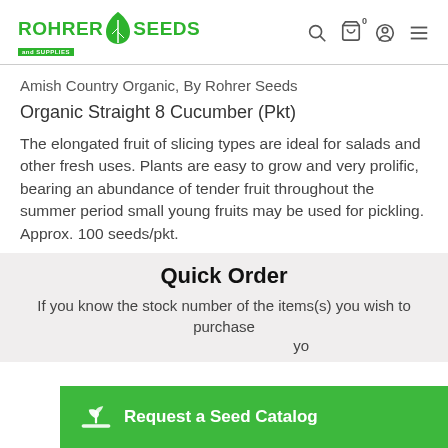Rohrer Seeds — navigation header with logo, search, cart, account, menu icons
Amish Country Organic, By Rohrer Seeds
Organic Straight 8 Cucumber (Pkt)
The elongated fruit of slicing types are ideal for salads and other fresh uses. Plants are easy to grow and very prolific, bearing an abundance of tender fruit throughout the summer period small young fruits may be used for pickling. Approx. 100 seeds/pkt.
Quick Order
If you know the stock number of the items(s) you wish to purchase yo
Request a Seed Catalog